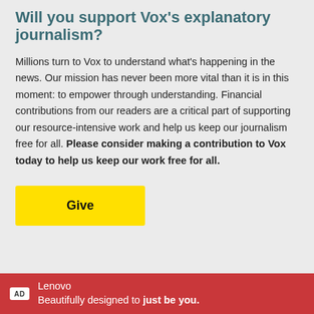Will you support Vox's explanatory journalism?
Millions turn to Vox to understand what's happening in the news. Our mission has never been more vital than it is in this moment: to empower through understanding. Financial contributions from our readers are a critical part of supporting our resource-intensive work and help us keep our journalism free for all. Please consider making a contribution to Vox today to help us keep our work free for all.
[Figure (other): Yellow 'Give' button]
AD  Lenovo  Beautifully designed to just be you.